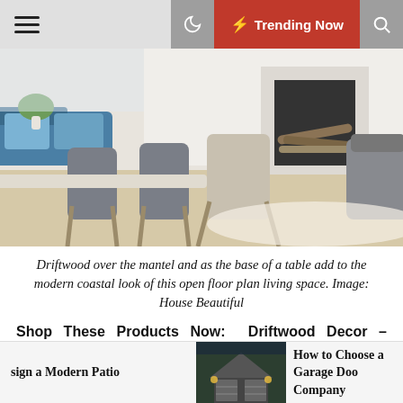Trending Now
[Figure (photo): Modern coastal open floor plan living room with driftwood table base, mid-century dining chairs, blue sofa, white fireplace, and wood floors.]
Driftwood over the mantel and as the base of a table add to the modern coastal look of this open floor plan living space. Image: House Beautiful
Shop These Products Now:  Driftwood Decor – Wooden Dining Chair
sign a Modern Patio
[Figure (photo): Exterior photo of a house with garage doors at dusk.]
How to Choose a Garage Door Company